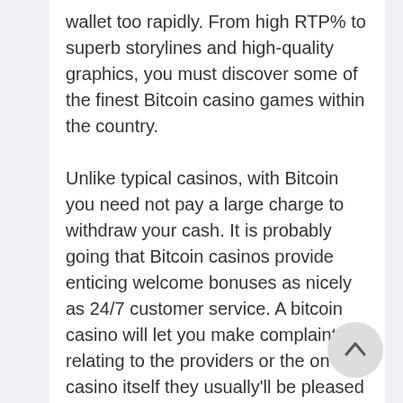wallet too rapidly. From high RTP% to superb storylines and high-quality graphics, you must discover some of the finest Bitcoin casino games within the country. Unlike typical casinos, with Bitcoin you need not pay a large charge to withdraw your cash. It is probably going that Bitcoin casinos provide enticing welcome bonuses as nicely as 24/7 customer service. A bitcoin casino will let you make complaints relating to the providers or the on line casino itself they usually'll be pleased to resolve any issues you might have. The whole process is accessible through the on line